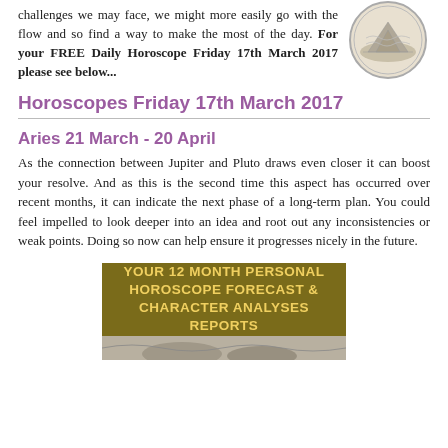challenges we may face, we might more easily go with the flow and so find a way to make the most of the day. For your FREE Daily Horoscope Friday 17th March 2017 please see below...
[Figure (illustration): Circular coin or medallion illustration with an engraved scene]
Horoscopes Friday 17th March 2017
Aries 21 March - 20 April
As the connection between Jupiter and Pluto draws even closer it can boost your resolve. And as this is the second time this aspect has occurred over recent months, it can indicate the next phase of a long-term plan. You could feel impelled to look deeper into an idea and root out any inconsistencies or weak points. Doing so now can help ensure it progresses nicely in the future.
[Figure (illustration): Advertisement banner: YOUR 12 MONTH PERSONAL HOROSCOPE FORECAST & CHARACTER ANALYSES REPORTS with decorative background image]